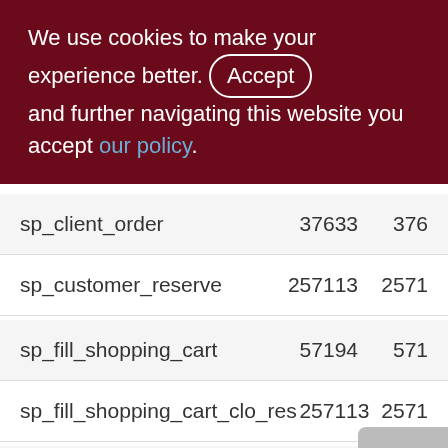We use cookies to make your experience better. By accepting and further navigating this website you accept our policy.
| Name | Col1 | Col2 |
| --- | --- | --- |
| sp_client_order | 37633 | 376 |
| sp_customer_reserve | 257113 | 2571 |
| sp_fill_shopping_cart | 57194 | 571 |
| sp_fill_shopping_cart_clo_res | 257113 | 2571 |
| sp_get_clo_for_invoice | 5685 | 56 |